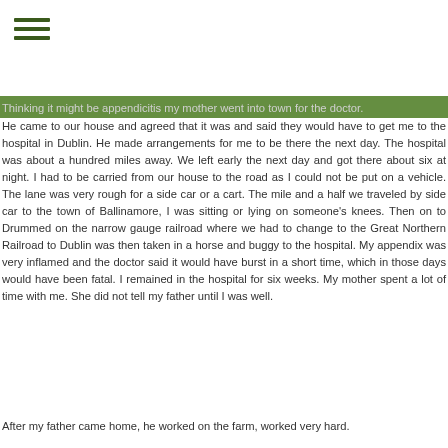≡
Thinking it might be appendicitis my mother went into town for the doctor. He came to our house and agreed that it was and said they would have to get me to the hospital in Dublin. He made arrangements for me to be there the next day. The hospital was about a hundred miles away. We left early the next day and got there about six at night. I had to be carried from our house to the road as I could not be put on a vehicle. The lane was very rough for a side car or a cart. The mile and a half we traveled by side car to the town of Ballinamore, I was sitting or lying on someone's knees. Then on to Drummed on the narrow gauge railroad where we had to change to the Great Northern Railroad to Dublin was then taken in a horse and buggy to the hospital. My appendix was very inflamed and the doctor said it would have burst in a short time, which in those days would have been fatal. I remained in the hospital for six weeks. My mother spent a lot of time with me. She did not tell my father until I was well.
After my father came home, he worked on the farm, worked very hard.